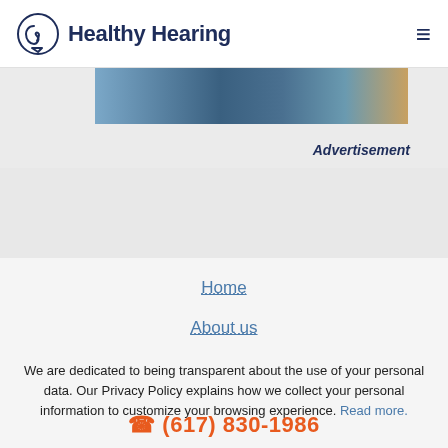Healthy Hearing
[Figure (other): Advertisement banner image strip with dark blue and tan tones]
Advertisement
Home
About us
We are dedicated to being transparent about the use of your personal data. Our Privacy Policy explains how we collect your personal information to customize your browsing experience. Read more.
(617) 830-1986